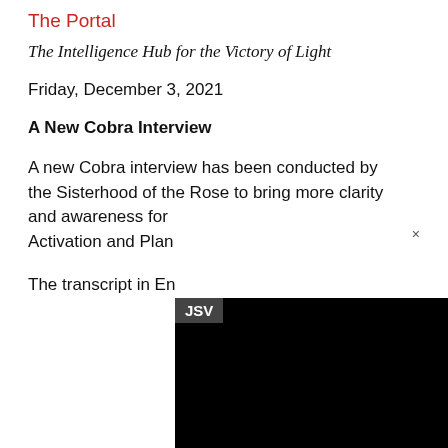The Portal
The Intelligence Hub for the Victory of Light
Friday, December 3, 2021
A New Cobra Interview
A new Cobra interview has been conducted by the Sisterhood of the Rose to bring more clarity and awareness for [JSV] Activation and Plan[...]

The transcript in En[...]
[Figure (screenshot): Black overlay/video player area with a JSV badge tooltip and close button visible]